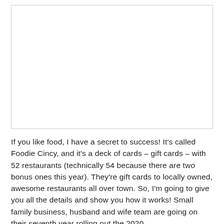[Figure (photo): A blank white image placeholder with a light border]
If you like food, I have a secret to success! It's called Foodie Cincy, and it's a deck of cards – gift cards – with 52 restaurants (technically 54 because there are two bonus ones this year). They're gift cards to locally owned, awesome restaurants all over town. So, I'm going to give you all the details and show you how it works! Small family business, husband and wife team are going on their seventh year rolling out the 2020…